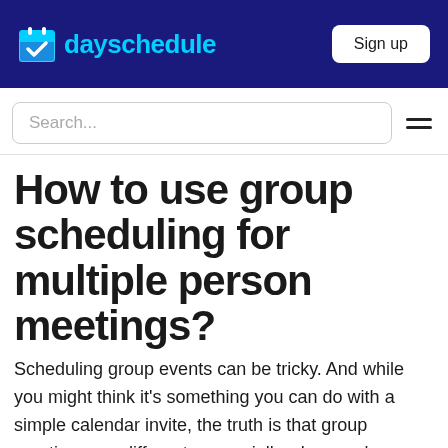dayschedule | Sign up
Search...
How to use group scheduling for multiple person meetings?
Scheduling group events can be tricky. And while you might think it's something you can do with a simple calendar invite, the truth is that group meetings are different - especially when you're talking about scheduling multiple person meetings